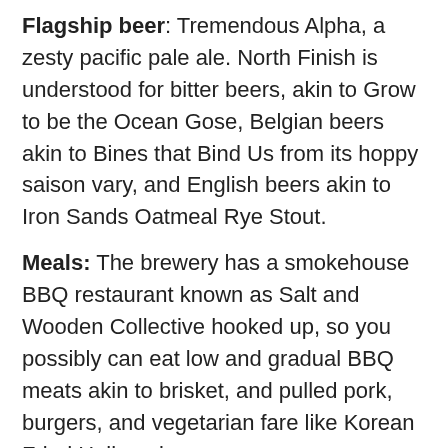Flagship beer: Tremendous Alpha, a zesty pacific pale ale. North Finish is understood for bitter beers, akin to Grow to be the Ocean Gose, Belgian beers akin to Bines that Bind Us from its hoppy saison vary, and English beers akin to Iron Sands Oatmeal Rye Stout.
Meals: The brewery has a smokehouse BBQ restaurant known as Salt and Wooden Collective hooked up, so you possibly can eat low and gradual BBQ meats akin to brisket, and pulled pork, burgers, and vegetarian fare like Korean Fried Halloumi.
Open: 8am until late every day.
Paraparaumu (inhabitants 29,700)
The team at Duncan's, minus one. From left: Waimatao Familton, George Duncan, Shane McGregor, Llew Bardecki, Dan Jackson (absent Compy Gardiner, he